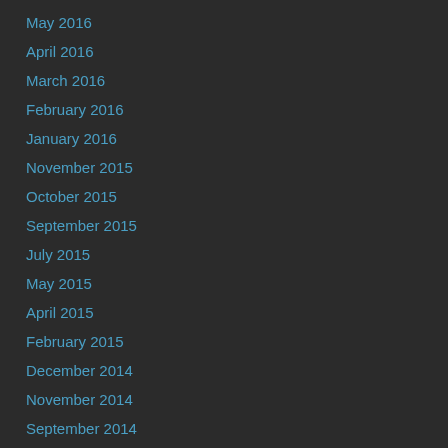May 2016
April 2016
March 2016
February 2016
January 2016
November 2015
October 2015
September 2015
July 2015
May 2015
April 2015
February 2015
December 2014
November 2014
September 2014
June 2014
May 2014
April 2014
February 2014
December 2013